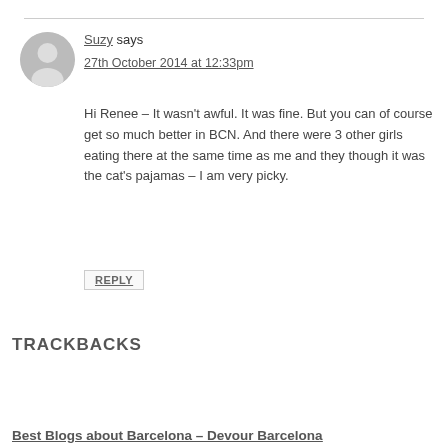Suzy says
27th October 2014 at 12:33pm

Hi Renee – It wasn't awful. It was fine. But you can of course get so much better in BCN. And there were 3 other girls eating there at the same time as me and they though it was the cat's pajamas – I am very picky.
REPLY
TRACKBACKS
Best Blogs about Barcelona – Devour Barcelona